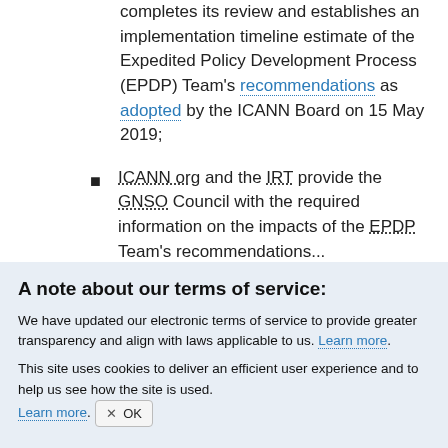completes its review and establishes an implementation timeline estimate of the Expedited Policy Development Process (EPDP) Team's recommendations as adopted by the ICANN Board on 15 May 2019;
ICANN org and the IRT provide the GNSO Council with the required information on the impacts of the EPDP Team's recommendations...
A note about our terms of service:
We have updated our electronic terms of service to provide greater transparency and align with laws applicable to us. Learn more.
This site uses cookies to deliver an efficient user experience and to help us see how the site is used. Learn more. OK